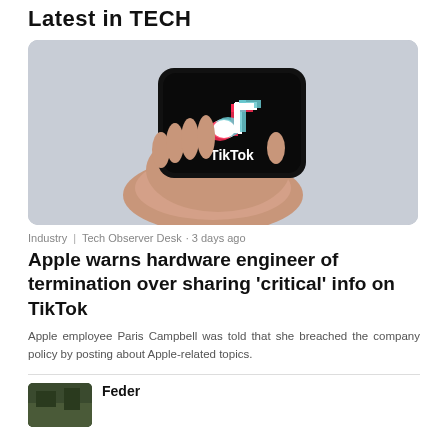Latest in TECH
[Figure (photo): A hand holding a smartphone displaying the TikTok logo on a dark screen, against a light gray background.]
Industry | Tech Observer Desk · 3 days ago
Apple warns hardware engineer of termination over sharing 'critical' info on TikTok
Apple employee Paris Campbell was told that she breached the company policy by posting about Apple-related topics.
[Figure (photo): Small thumbnail image, dark green tones, partially visible at bottom of page.]